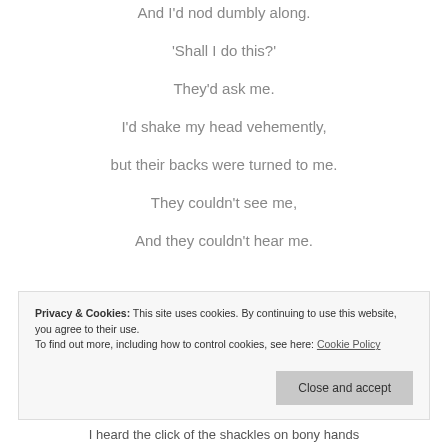And I'd nod dumbly along.
‘Shall I do this?’
They’d ask me.
I’d shake my head vehemently,
but their backs were turned to me.
They couldn’t see me,
And they couldn’t hear me.
Privacy & Cookies: This site uses cookies. By continuing to use this website, you agree to their use.
To find out more, including how to control cookies, see here: Cookie Policy
I heard the click of the shackles on bony hands